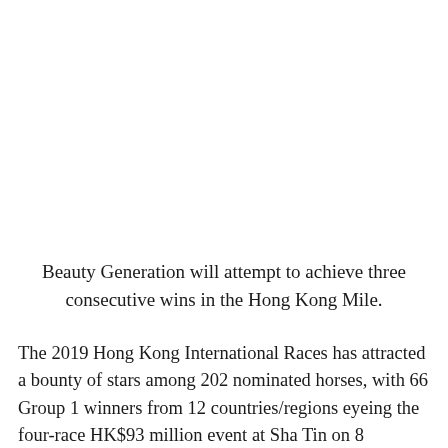Beauty Generation will attempt to achieve three consecutive wins in the Hong Kong Mile.
The 2019 Hong Kong International Races has attracted a bounty of stars among 202 nominated horses, with 66 Group 1 winners from 12 countries/regions eyeing the four-race HK$93 million event at Sha Tin on 8 December.